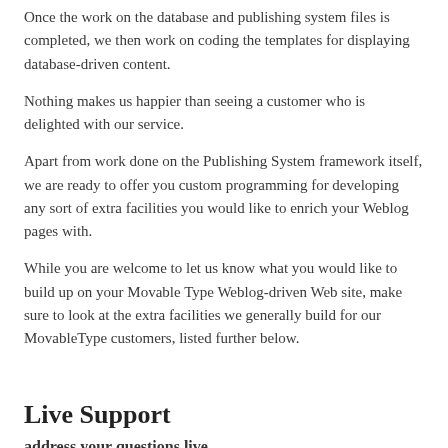Once the work on the database and publishing system files is completed, we then work on coding the templates for displaying database-driven content.
Nothing makes us happier than seeing a customer who is delighted with our service.
Apart from work done on the Publishing System framework itself, we are ready to offer you custom programming for developing any sort of extra facilities you would like to enrich your Weblog pages with.
While you are welcome to let us know what you would like to build up on your Movable Type Weblog-driven Web site, make sure to look at the extra facilities we generally build for our MovableType customers, listed further below.
Live Support
address your questions live
Let us serve you in the best way we can! Get it touch live or via email by either requesting a quote below or from our contact page.